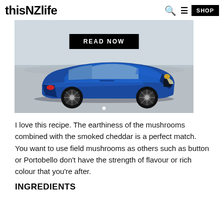thisNZlife
[Figure (photo): Blue Lexus UX SUV parked on a beach with text 'READ NOW' button overlay and partial headline text above]
I love this recipe. The earthiness of the mushrooms combined with the smoked cheddar is a perfect match. You want to use field mushrooms as others such as button or Portobello don't have the strength of flavour or rich colour that you're after.
INGREDIENTS